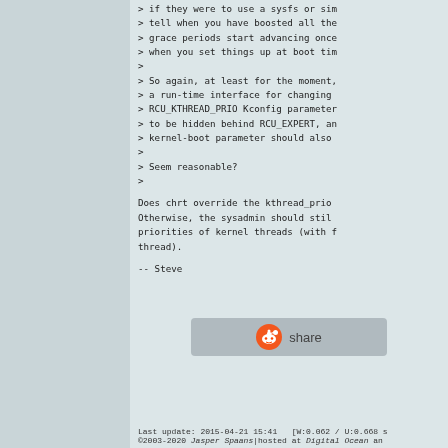> if they were to use a sysfs or sim
> tell when you have boosted all the
> grace periods start advancing once
> when you set things up at boot tim
>
> So again, at least for the moment,
> a run-time interface for changing
> RCU_KTHREAD_PRIO Kconfig parameter
> to be hidden behind RCU_EXPERT, an
> kernel-boot parameter should also
>
> Seem reasonable?
>
Does chrt override the kthread_prio
Otherwise, the sysadmin should still
priorities of kernel threads (with f
thread).
-- Steve
[Figure (other): Reddit share button with Reddit alien logo icon]
Last update: 2015-04-21 15:41   [W:0.062 / U:0.668 s
©2003-2020 Jasper Spaans|hosted at Digital Ocean an